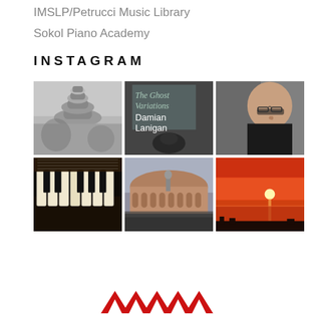IMSLP/Petrucci Music Library
Sokol Piano Academy
INSTAGRAM
[Figure (photo): 3x2 Instagram photo grid: row 1: black-and-white stacked stones/zen stones photo; book cover 'The Ghost Variations Damian Lanigan'; portrait of young man with glasses smiling. Row 2: piano keys with sheet music; Royal Albert Hall exterior with performers; orange sunset over water.]
[Figure (logo): Partial decorative red/zigzag logo element at bottom center]